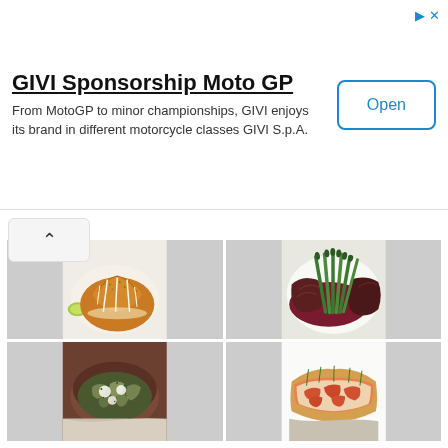[Figure (screenshot): Advertisement banner for GIVI Sponsorship Moto GP with title, description, and Open button]
GIVI Sponsorship Moto GP
From MotoGP to minor championships, GIVI enjoys its brand in different motorcycle classes GIVI S.p.A.
[Figure (photo): Bundt cake with white glaze drizzle on a white plate with a lime wedge]
[Figure (photo): Grilled steak and asparagus with red wine sauce on a white plate]
[Figure (photo): Artichoke dish in a dark bowl with herbs and cream]
[Figure (photo): Grilled lobster roll with creamy sauce on a white plate]